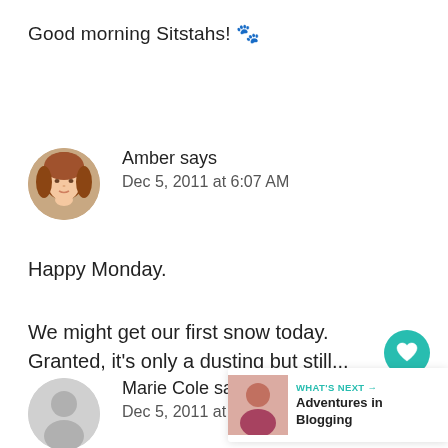Good morning Sitstahs! 🐾
[Figure (photo): Circular avatar photo of Amber, a woman with reddish-brown hair]
Amber says
Dec 5, 2011 at 6:07 AM
Happy Monday.
We might get our first snow today. Granted, it's only a dusting but still...
[Figure (illustration): Teal circular heart/like button icon]
[Figure (illustration): White circular share button icon]
[Figure (photo): Circular avatar placeholder for Marie Cole (grey person silhouette)]
Marie Cole says
Dec 5, 2011 at 6:00 AM
WHAT'S NEXT → Adventures in Blogging